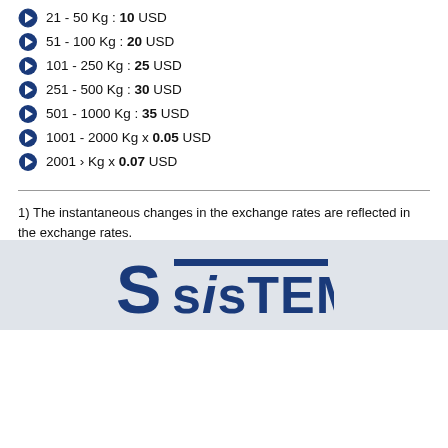21 - 50 Kg : 10 USD
51 - 100 Kg : 20 USD
101 - 250 Kg : 25 USD
251 - 500 Kg : 30 USD
501 - 1000 Kg : 35 USD
1001 - 2000 Kg x 0.05 USD
2001 › Kg x 0.07 USD
1) The instantaneous changes in the exchange rates are reflected in the exchange rates.
2) For the goods in the depot, we also have the new price list.
3) These prices don't include 18 % VAT.
4) The invoice amounts of all services are calculated by rounding to Five Turkish Lira and multiples.
[Figure (logo): SSiSTEM company logo in dark blue on light grey background]